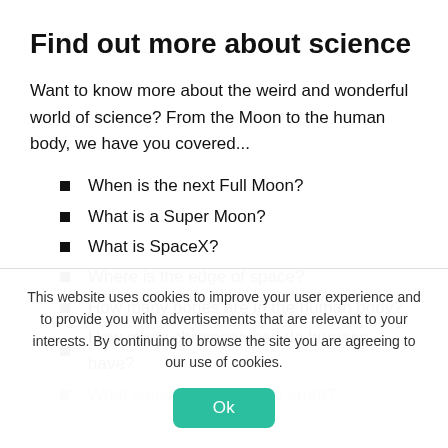Find out more about science
Want to know more about the weird and wonderful world of science? From the Moon to the human body, we have you covered...
When is the next Full Moon?
What is a Super Moon?
What is SpaceX?
Where is the edge of space?
How many bones are in the human body?
How many chromosomes do humans have?
What causes a volcano to erupt?
This website uses cookies to improve your user experience and to provide you with advertisements that are relevant to your interests. By continuing to browse the site you are agreeing to our use of cookies.